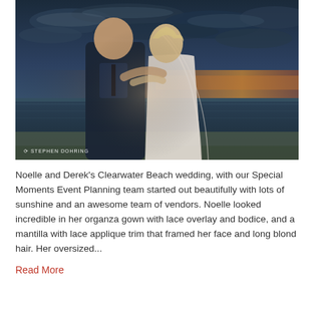[Figure (photo): Wedding couple standing on a beach at sunset. The groom wears a navy blue suit and the bride wears a white lace gown with a veil. They embrace with the ocean and dramatic cloudy sky in the background. Watermark reads 'STEPHEN DOHRING' in the lower left.]
Noelle and Derek's Clearwater Beach wedding, with our Special Moments Event Planning team started out beautifully with lots of sunshine and an awesome team of vendors. Noelle looked incredible in her organza gown with lace overlay and bodice, and a mantilla with lace applique trim that framed her face and long blond hair. Her oversized...
Read More